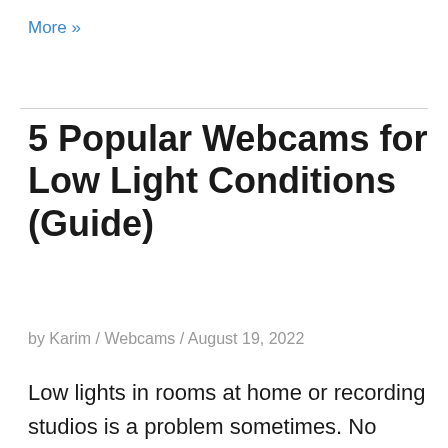More »
5 Popular Webcams for Low Light Conditions (Guide)
by Karim / Webcams / August 19, 2022
Low lights in rooms at home or recording studios is a problem sometimes. No matter how many lights you might install,